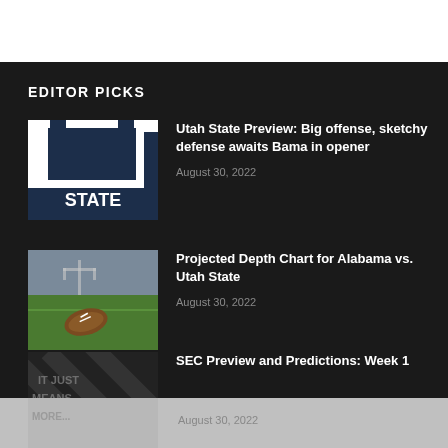EDITOR PICKS
[Figure (photo): Utah State Aggies logo on dark blue background with large U and STATE text]
Utah State Preview: Big offense, sketchy defense awaits Bama in opener
August 30, 2022
[Figure (photo): Football on green grass field with white goal posts in background]
Projected Depth Chart for Alabama vs. Utah State
August 30, 2022
[Figure (photo): Dark background with diagonal stripes and 'IT JUST MEANS MORE' text]
SEC Preview and Predictions: Week 1
August 30, 2022